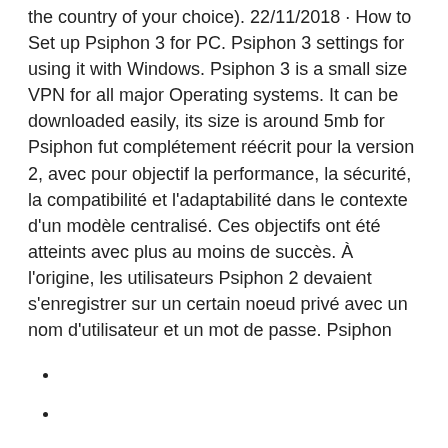the country of your choice). 22/11/2018 · How to Set up Psiphon 3 for PC. Psiphon 3 settings for using it with Windows. Psiphon 3 is a small size VPN for all major Operating systems. It can be downloaded easily, its size is around 5mb for Psiphon fut complétement réécrit pour la version 2, avec pour objectif la performance, la sécurité, la compatibilité et l'adaptabilité dans le contexte d'un modèle centralisé. Ces objectifs ont été atteints avec plus au moins de succès. À l'origine, les utilisateurs Psiphon 2 devaient s'enregistrer sur un certain noeud privé avec un nom d'utilisateur et un mot de passe. Psiphon